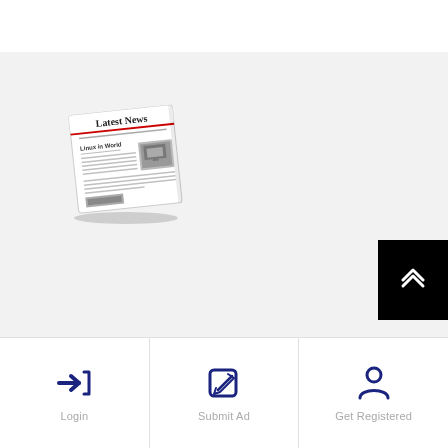[Figure (illustration): Newspaper icon showing 'Latest News' headline with article text and image, slightly tilted, greyscale]
[Figure (screenshot): Black scroll-to-top button with double chevron up arrow icon]
[Figure (infographic): Login icon - dark blue arrow pointing right into bracket]
Login
[Figure (infographic): Submit Ad icon - dark blue square with pencil/edit symbol]
Submit Ad
[Figure (infographic): Get Registered icon - dark blue person/user silhouette]
Get Registered